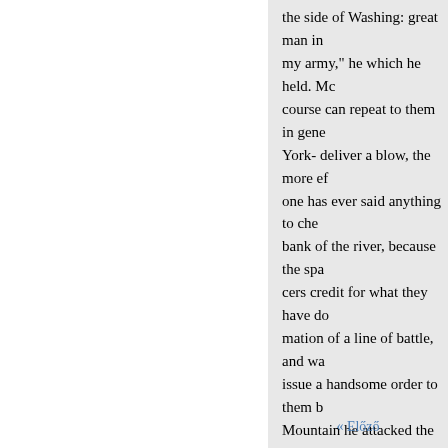the side of Washing: great man in my army," he which he held. Mc course can repeat to them in gene York- deliver a blow, the more ef one has ever said anything to che bank of the river, because the spa cers credit for what they have do mation of a line of battle, and wa issue a handsome order to them b Mountain he attacked the next ga
)
In his report he says,
“
« Előző